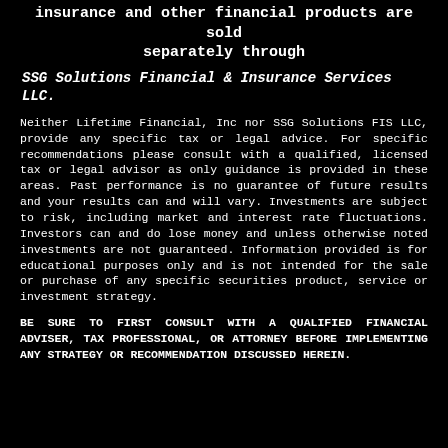insurance and other financial products are sold separately through
SSG Solutions Financial & Insurance Services LLC.
Neither Lifetime Financial, Inc nor SSG Solutions FIS LLC, provide any specific tax or legal advice. For specific recommendations please consult with a qualified, licensed tax or legal advisor as only guidance is provided in these areas. Past performance is no guarantee of future results and your results can and will vary. Investments are subject to risk, including market and interest rate fluctuations. Investors can and do lose money and unless otherwise noted investments are not guaranteed. Information provided is for educational purposes only and is not intended for the sale or purchase of any specific securities product, service or investment strategy.
BE SURE TO FIRST CONSULT WITH A QUALIFIED FINANCIAL ADVISER, TAX PROFESSIONAL, OR ATTORNEY BEFORE IMPLEMENTING ANY STRATEGY OR RECOMMENDATION DISCUSSED HEREIN.